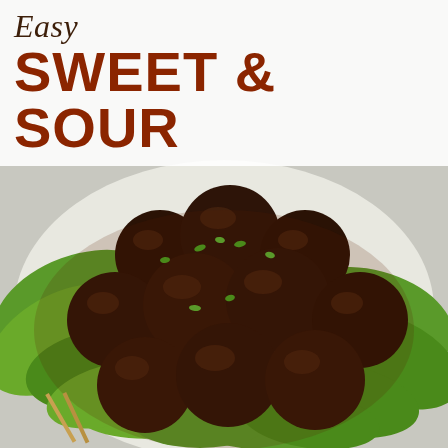[Figure (photo): A plate of glossy dark brown sweet and sour meatballs piled high on a bed of green leafy lettuce, garnished with chopped fresh herbs (parsley/scallions), with wooden skewers visible at the bottom left. The background is white/light gray.]
Easy SWEET & SOUR